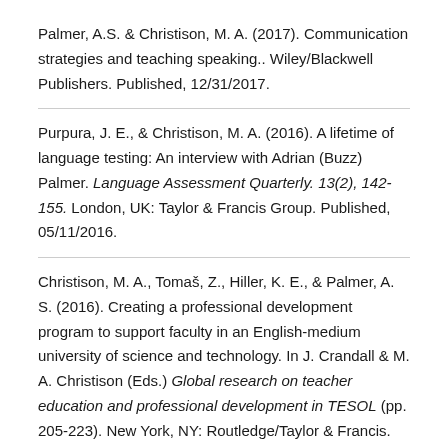Palmer, A.S. & Christison, M. A. (2017). Communication strategies and teaching speaking.. Wiley/Blackwell Publishers. Published, 12/31/2017.
Purpura, J. E., & Christison, M. A. (2016). A lifetime of language testing: An interview with Adrian (Buzz) Palmer. Language Assessment Quarterly. 13(2), 142-155. London, UK: Taylor & Francis Group. Published, 05/11/2016.
Christison, M. A., Tomaš, Z., Hiller, K. E., & Palmer, A. S. (2016). Creating a professional development program to support faculty in an English-medium university of science and technology. In J. Crandall & M. A. Christison (Eds.) Global research on teacher education and professional development in TESOL (pp. 205-223). New York, NY: Routledge/Taylor & Francis. Published, 05/2016.
Palmer, Adrian. "Teaching Communication: Back to the